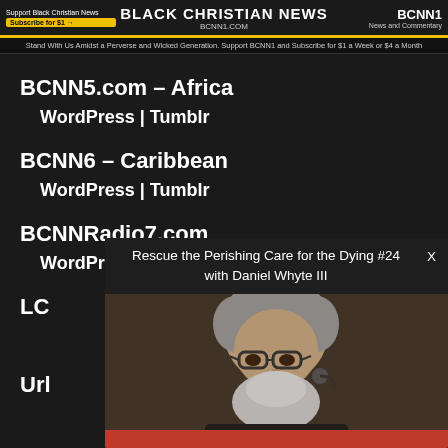BLACK CHRISTIAN NEWS | BCNN1.COM | BCNN1 News and Commentary
Stand With Us Amidst a Perverse and Wicked Generation. Support BCNN1 and Subscribe for $1 a Week or $4 a Month
BCNN5.com – Africa
WordPress | Tumblr
BCNN6 – Caribbean
WordPress | Tumblr
BCNNRadio7.com
WordPress | Tumblr
LC
Url
Ne
Wh
WordPress | Tumblr
[Figure (screenshot): Video overlay showing 'Rescue the Perishing Care for the Dying #24 with Daniel Whyte III' with a man wearing glasses and headset, with a red bar at bottom and X close button]